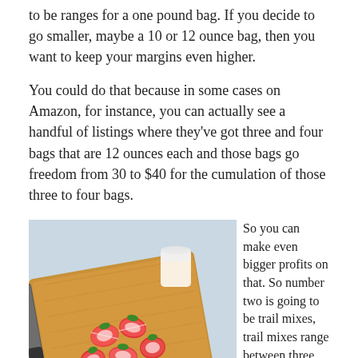to be ranges for a one pound bag. If you decide to go smaller, maybe a 10 or 12 ounce bag, then you want to keep your margins even higher.
You could do that because in some cases on Amazon, for instance, you can actually see a handful of listings where they've got three and four bags that are 12 ounces each and those bags go freedom from 30 to $40 for the cumulation of those three to four bags.
[Figure (photo): A photo of sliced strawberries on a wooden cutting board with a knife and a small glass of milk in the background against a light blue-gray surface.]
So you can make even bigger profits on that. So number two is going to be trail mixes, trail mixes range between three 50 to four 50 a pound when you buy them.

So they have a range. All right. So number three is corn nuts and corn sticks. These are corn nuts. Of course are always something